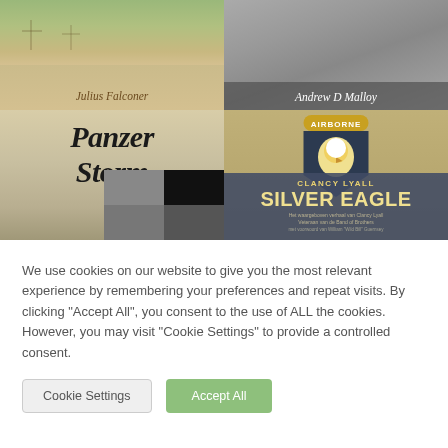[Figure (illustration): Four book covers in a 2x2 grid. Top-left: a book by Julius Falconer with a greenish-tan battlefield scene. Top-right: a book by Andrew D Malloy with a grey/sepia landscape. Bottom-left: 'Panzer Storm' in gothic blackletter font over a sepia tank scene. Bottom-right: 'Silver Eagle' by Clancy Lyall with an Airborne eagle badge on a khaki background.]
We use cookies on our website to give you the most relevant experience by remembering your preferences and repeat visits. By clicking "Accept All", you consent to the use of ALL the cookies. However, you may visit "Cookie Settings" to provide a controlled consent.